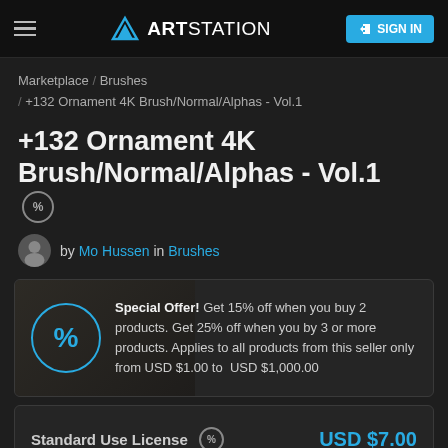ArtStation — SIGN IN
Marketplace / Brushes / +132 Ornament 4K Brush/Normal/Alphas - Vol.1
+132 Ornament 4K Brush/Normal/Alphas - Vol.1
by Mo Hussen in Brushes
Special Offer! Get 15% off when you buy 2 products. Get 25% off when you by 3 or more products. Applies to all products from this seller only from USD $1.00 to USD $1,000.00
Standard Use License   USD $7.00